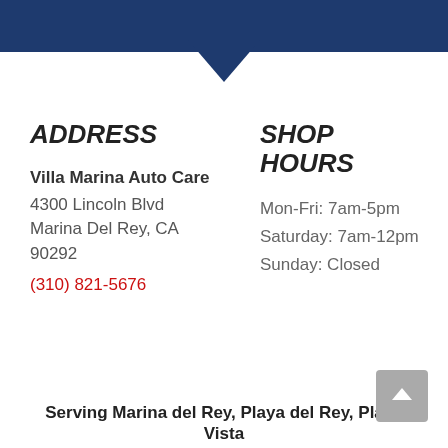[Figure (other): Dark navy blue header bar with downward-pointing chevron/triangle]
ADDRESS
Villa Marina Auto Care
4300 Lincoln Blvd
Marina Del Rey, CA 90292
(310) 821-5676
SHOP HOURS
Mon-Fri: 7am-5pm
Saturday: 7am-12pm
Sunday: Closed
Serving Marina del Rey, Playa del Rey, Playa Vista